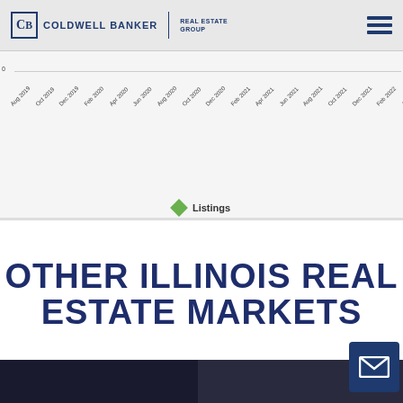[Figure (logo): Coldwell Banker Real Estate Group logo with CB monogram icon]
[Figure (continuous-plot): Partial line chart showing Listings data over time from Aug 2019 to Aug 2022, x-axis labels visible at bottom]
Listings
OTHER ILLINOIS REAL ESTATE MARKETS
[Figure (photo): Two dark real estate property photos side by side at bottom of page]